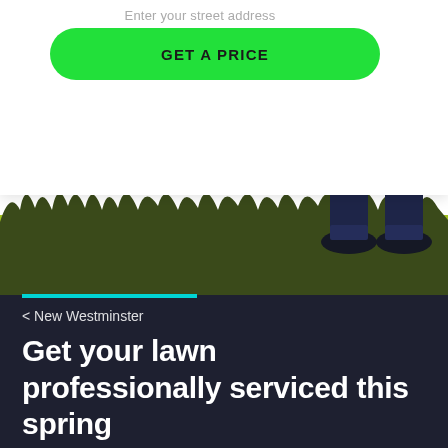[Figure (screenshot): Web app form section showing an address input field with placeholder text 'Enter your street address' and a bright green rounded button labeled 'GET A PRICE', with an illustration of a person's legs in dark pants standing on a lawn with green grass.]
< New Westminster
Get your lawn professionally serviced this spring